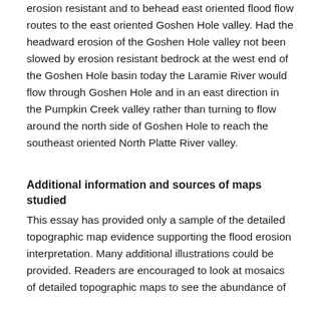erosion resistant and to behead east oriented flood flow routes to the east oriented Goshen Hole valley. Had the headward erosion of the Goshen Hole valley not been slowed by erosion resistant bedrock at the west end of the Goshen Hole basin today the Laramie River would flow through Goshen Hole and in an east direction in the Pumpkin Creek valley rather than turning to flow around the north side of Goshen Hole to reach the southeast oriented North Platte River valley.
Additional information and sources of maps studied
This essay has provided only a sample of the detailed topographic map evidence supporting the flood erosion interpretation. Many additional illustrations could be provided. Readers are encouraged to look at mosaics of detailed topographic maps to see the abundance of possible data. Maps used in this study are most clearly...